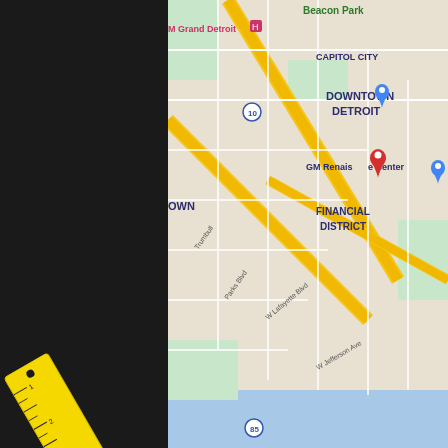[Figure (map): Google My Maps screenshot showing downtown Detroit area including Beacon Park, Capitol City, Downtown Detroit, GM Renaissance Center, Financial District, Detroit River, United States and Canada labels, Caesars label, with zoom controls (+/-) and map data footer showing '©2022 Google Terms II'. Location pins (blue and red) are visible in the downtown area.]
[Figure (photo): Photo of school/office supplies on dark background: yellow ruler, pencil, pink eraser, protractor/semicircle ruler, magnifying glass, all arranged on a dark surface, partially overlapping with map and text content.]
Planning for such events will ensure that your needs can nev...
The challenge of a home-based business may be rewarding, ... niche is the first and most critical step. Your niche might be a... case you are informed about the topic first. Before placing all... basket, do thorough research. Be sure you're networking with... can be succeeding with home businesses...